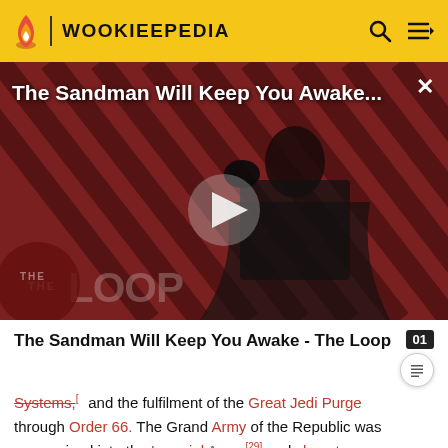WOOKIEEPEDIA
[Figure (screenshot): Video thumbnail for 'The Sandman Will Keep You Awake... - The Loop' on Wookieepedia, showing a dark-cloaked figure against a striped red background with a play button overlay and 'THE LOOP' text at the bottom.]
The Sandman Will Keep You Awake - The Loop
Systems,[...] and the fulfilment of the Great Jedi Purge through Order 66. The Grand Army of the Republic was reorganized into the Imperial Army,[29] and clone troopers continued to serve in its ranks. However, continued